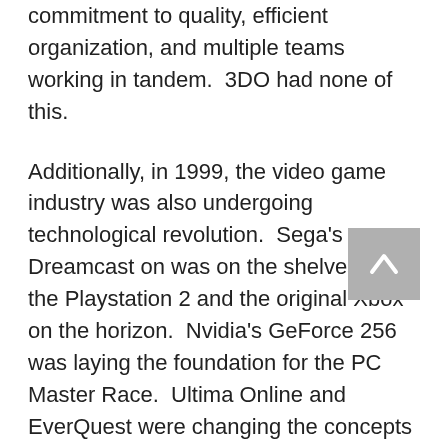commitment to quality, efficient organization, and multiple teams working in tandem.  3DO had none of this.

Additionally, in 1999, the video game industry was also undergoing technological revolution.  Sega's Dreamcast on was on the shelves, with the Playstation 2 and the original Xbox on the horizon.  Nvidia's GeForce 256 was laying the foundation for the PC Master Race.  Ultima Online and EverQuest were changing the concepts of what makes an RPG.  In this respect, NWC was well behind the technological curve on all fronts.  As good as MM6 and MM7 played, they simply looked primitive when put up against games like Team Fortress, Half-life, and Quake 3 Arena.